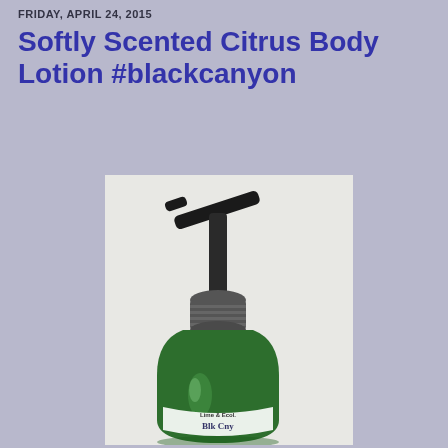FRIDAY, APRIL 24, 2015
Softly Scented Citrus Body Lotion #blackcanyon
[Figure (photo): Green pump bottle of Black Canyon citrus body lotion with a black pump dispenser, photographed against a white/light gray background.]